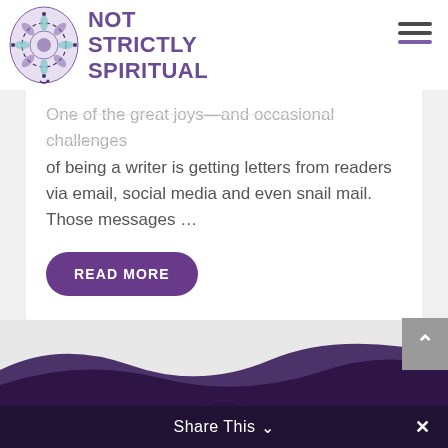[Figure (logo): Not Strictly Spiritual website logo — mandala illustration on left, text 'NOT STRICTLY SPIRITUAL' in purple on right]
One of the great joys—and occasional challenges of being a writer is getting letters from readers via email, social media and even snail mail. Those messages …
READ MORE
[Figure (illustration): Dark purple wave design at the bottom of the page]
Share This ∨  ✕